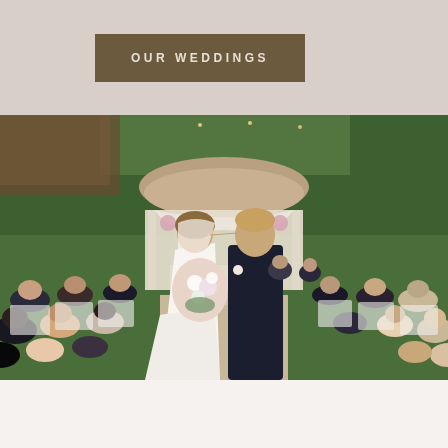OUR WEDDINGS
[Figure (photo): Outdoor wedding ceremony photo: bride and groom kissing as they walk down the aisle, guests seated on white chairs on either side, a white gazebo with a decorative dome in the background surrounded by lush green trees and foliage]